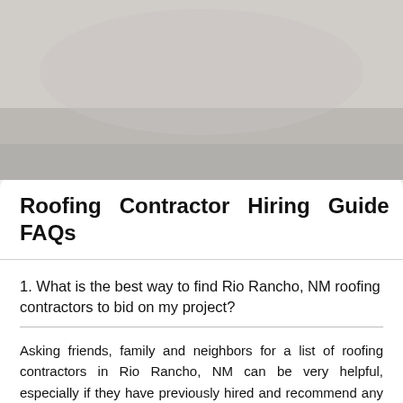[Figure (photo): Background image behind the modal dialog, showing a roofing scene, partially visible at the top of the page.]
Roofing Contractor Hiring Guide FAQs
1. What is the best way to find Rio Rancho, NM roofing contractors to bid on my project?
Asking friends, family and neighbors for a list of roofing contractors in Rio Rancho, NM can be very helpful, especially if they have previously hired and recommend any particular one on the list. Online searches are very helpful, as well as using online listing services, such as Quality-Trades.com.
2. How can I save money on my roof project?